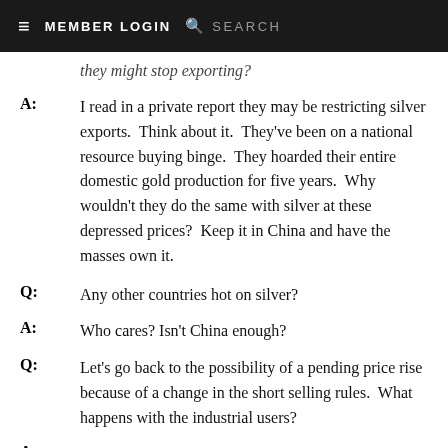≡  MEMBER LOGIN  🔍  SEARCH
they might stop exporting?
A:  I read in a private report they may be restricting silver exports.  Think about it.  They've been on a national resource buying binge.  They hoarded their entire domestic gold production for five years.  Why wouldn't they do the same with silver at these depressed prices?  Keep it in China and have the masses own it.
Q:  Any other countries hot on silver?
A:  Who cares? Isn't China enough?
Q:  Let's go back to the possibility of a pending price rise because of a change in the short selling rules.  What happens with the industrial users?
A:  That is the atomic bomb in the silver price equation.  Investment demand is the wild card, in that it can